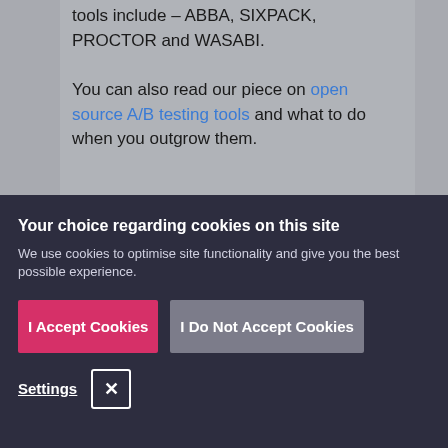tools include – ABBA, SIXPACK, PROCTOR and WASABI.
You can also read our piece on open source A/B testing tools and what to do when you outgrow them.
Your choice regarding cookies on this site
We use cookies to optimise site functionality and give you the best possible experience.
I Accept Cookies
I Do Not Accept Cookies
Settings